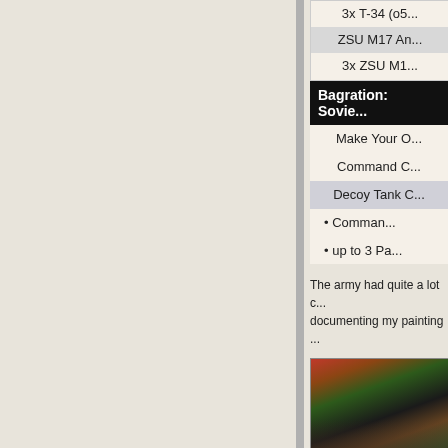3x T-34 (05...)
ZSU M17 Anti...
3x ZSU M1...
Bagration: Sovie...
Make Your O...
Command C...
Decoy Tank C...
Comman...
up to 3 Pa...
The army had quite a lot c... documenting my painting ...
[Figure (photo): Photo of painted miniature tanks with fire/explosion scenery, Soviet armor models]